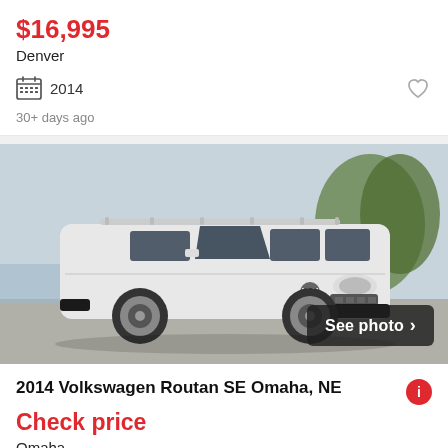$16,995
Denver
2014
30+ days ago
[Figure (photo): White Volkswagen Routan SE minivan photographed outdoors near a beach/coastal area. The van is white with roof rails and alloy wheels. A dark semi-transparent overlay button in the bottom right reads 'See photo >']
2014 Volkswagen Routan SE Omaha, NE
Check price
Omaha
2014  104,300 Miles  4 Doors